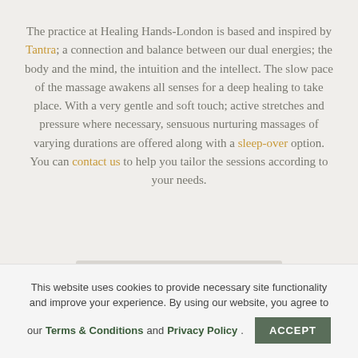The practice at Healing Hands-London is based and inspired by Tantra; a connection and balance between our dual energies; the body and the mind, the intuition and the intellect. The slow pace of the massage awakens all senses for a deep healing to take place. With a very gentle and soft touch; active stretches and pressure where necessary, sensuous nurturing massages of varying durations are offered along with a sleep-over option. You can contact us to help you tailor the sessions according to your needs.
This website uses cookies to provide necessary site functionality and improve your experience. By using our website, you agree to our Terms & Conditions and Privacy Policy.